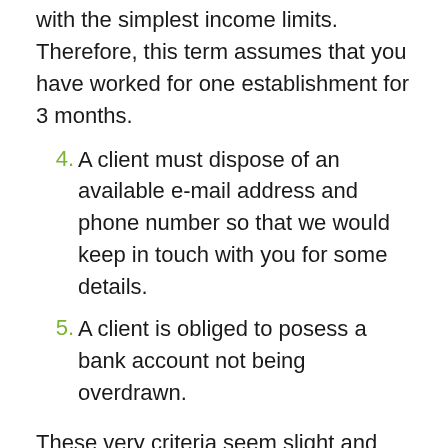3. with the simplest income limits. Therefore, this term assumes that you have worked for one establishment for 3 months.
4. A client must dispose of an available e-mail address and phone number so that we would keep in touch with you for some details.
5. A client is obliged to posess a bank account not being overdrawn.
These very criteria seem slight and obvious enough. As a result, the majority applicants will comply with them certainly and without taking risks.
Modes of Fast Cash Loans in Overbrook
As you are confident that you might take payday